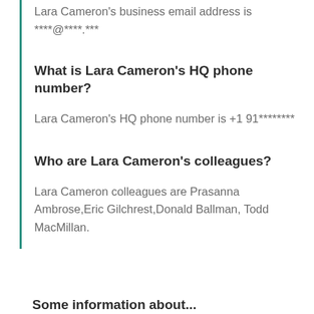Lara Cameron's business email address is ****@****.***
What is Lara Cameron's HQ phone number?
Lara Cameron's HQ phone number is +1 91********
Who are Lara Cameron's colleagues?
Lara Cameron colleagues are Prasanna Ambrose,Eric Gilchrest,Donald Ballman, Todd MacMillan.
Some information about...